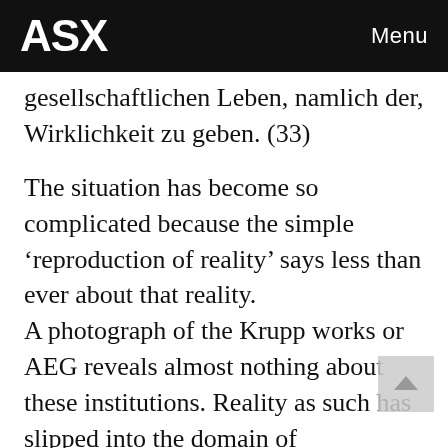ASX  Menu
gesellschaftlichen Leben, namlich der, Wirklichkeit zu geben. (33)
The situation has become so complicated because the simple ‘reproduction of reality’ says less than ever about that reality. A photograph of the Krupp works or AEG reveals almost nothing about these institutions. Reality as such has slipped into the domain of